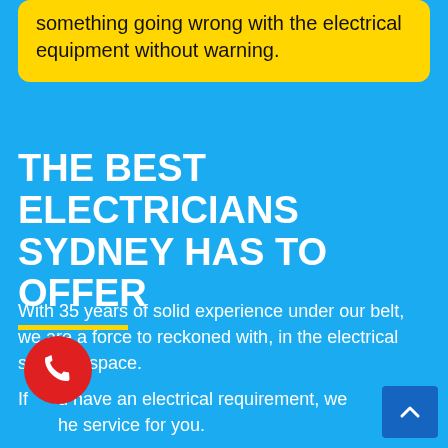something going wrong with the electrical equipment without warning.
THE BEST ELECTRICIANS SYDNEY HAS TO OFFER
With 35 years of solid experience under our belt, we are a force to reckoned with, in the electrical services space.
If you have an electrical requirement, we he service for you.
With us on call, you know you will always get